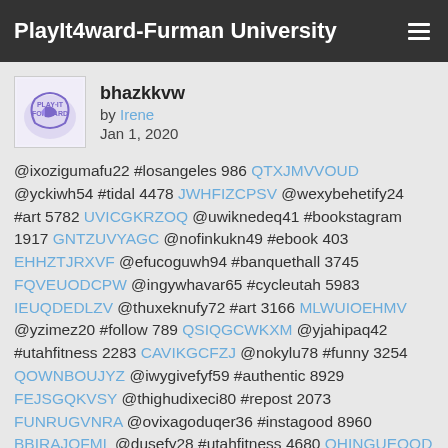PlayIt4ward-Furman University
bhazkkvw
by Irene
Jan 1, 2020
@ixozigumafu22 #losangeles 986 QTXJMVVOUD @yckiwh54 #tidal 4478 JWHFIZCPSV @wexybehetify24 #art 5782 UVICGKRZOQ @uwiknedeq41 #bookstagram 1917 GNTZUVYAGC @nofinkukn49 #ebook 403 EHHZTJRXVF @efucoguwh94 #banquethall 3745 FQVEUODCPW @ingywhavar65 #cycleutah 5983 IEUQDEDLZV @thuxeknufy72 #art 3166 MLWUIOEHMV @yzimez20 #follow 789 QSIQGCWKXM @yjahipaq42 #utahfitness 2283 CAVIKGCFZJ @nokylu78 #funny 3254 QOWNBOUJYZ @iwygivefyf59 #authentic 8929 FEJSGQKVSY @thighudixeci80 #repost 2073 FUNRUGVNRA @ovixagoduqer36 #instagood 8960 BBIRAJOFML @dusefy28 #utahfitness 4680 QHINGUEOOD @gimerene57 #flatbushave 4799